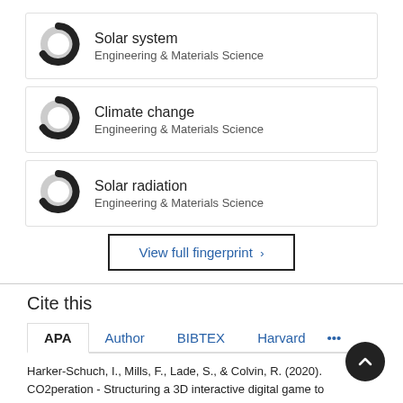[Figure (donut-chart): Donut chart icon for Solar system keyword]
Solar system
Engineering & Materials Science
[Figure (donut-chart): Donut chart icon for Climate change keyword]
Climate change
Engineering & Materials Science
[Figure (donut-chart): Donut chart icon for Solar radiation keyword]
Solar radiation
Engineering & Materials Science
View full fingerprint ›
Cite this
APA  Author  BIBTEX  Harvard  •••
Harker-Schuch, I., Mills, F., Lade, S., & Colvin, R. (2020). CO2peration - Structuring a 3D interactive digital game to